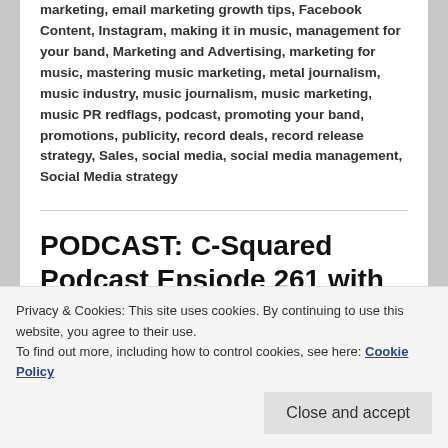marketing, email marketing growth tips, Facebook Content, Instagram, making it in music, management for your band, Marketing and Advertising, marketing for music, mastering music marketing, metal journalism, music industry, music journalism, music marketing, music PR redflags, podcast, promoting your band, promotions, publicity, record deals, record release strategy, Sales, social media, social media management, Social Media strategy
PODCAST: C-Squared Podcast Epsiode 261 with Chris Dudley of
Privacy & Cookies: This site uses cookies. By continuing to use this website, you agree to their use.
To find out more, including how to control cookies, see here: Cookie Policy